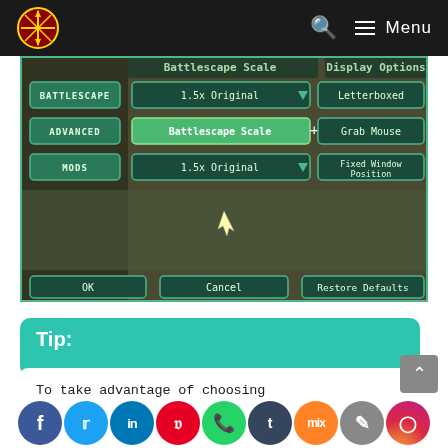Menu
[Figure (screenshot): Game options screen showing Battlescape, Advanced, Mods menu on the left; Battlescape Scale set to 1.5x Original with dropdown; Display Options on the right showing Letterboxed, Grab Mouse, Fixed Window Position; OK, Cancel, Restore Defaults buttons at the bottom.]
Tip:
To take advantage of choosing better resolutions, click on ‘Options’ and then ‘Video’ and change the ‘Display Filter’ to